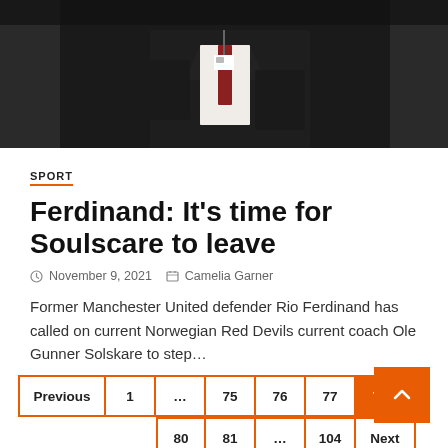[Figure (photo): A man in a dark suit wearing a lanyard/badge, holding a mobile phone and a bag strap, photographed against a dark background.]
SPORT
Ferdinand: It’s time for Soulscare to leave
November 9, 2021  Camelia Garner
Former Manchester United defender Rio Ferdinand has called on current Norwegian Red Devils current coach Ole Gunner Solskare to step…
Previous  1  …  75  76  77  78  80  81  …  104  Next